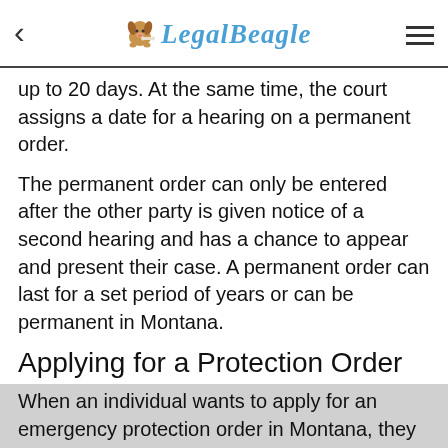Legal Beagle
up to 20 days. At the same time, the court assigns a date for a hearing on a permanent order.
The permanent order can only be entered after the other party is given notice of a second hearing and has a chance to appear and present their case. A permanent order can last for a set period of years or can be permanent in Montana.
Applying for a Protection Order
When an individual wants to apply for an emergency protection order in Montana, they must file a petition for temporary order of protection in justice court, city court, municipal court, or a district court in the county where they live, in the county